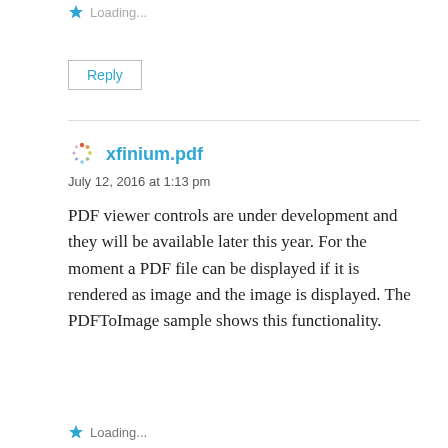Loading...
Reply
xfinium.pdf
July 12, 2016 at 1:13 pm
PDF viewer controls are under development and they will be available later this year. For the moment a PDF file can be displayed if it is rendered as image and the image is displayed. The PDFToImage sample shows this functionality.
Loading...